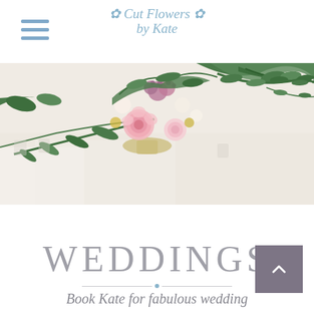[Figure (logo): Cut Flowers by Kate logo in cursive script with decorative floral swashes, in light blue/grey color]
[Figure (photo): Wide banner photograph of a lush floral arrangement with pink roses, assorted flowers in pink, cream, and mauve tones, with cascading green foliage on a white linen-draped table]
WEDDINGS
Book Kate for fabulous wedding